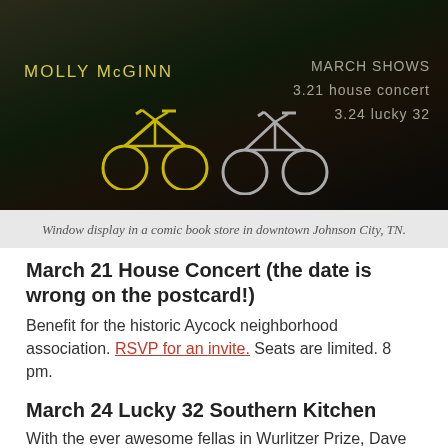[Figure (photo): Window display in a comic book store in downtown Johnson City, TN, showing vintage bicycles (yellow and silver) with overlaid text: 'MOLLY McGINN' on the left in yellow, and 'MARCH SHOWS / 3.21 house concert / 3.24 lucky 32' on the right in light text.]
Window display in a comic book store in downtown Johnson City, TN.
March 21 House Concert (the date is wrong on the postcard!)
Benefit for the historic Aycock neighborhood association. RSVP for an invite. Seats are limited. 8 pm.
March 24 Lucky 32 Southern Kitchen
With the ever awesome fellas in Wurlitzer Prize, Dave Willis and Brent Buckner. 6:30 to 9:30 pm.